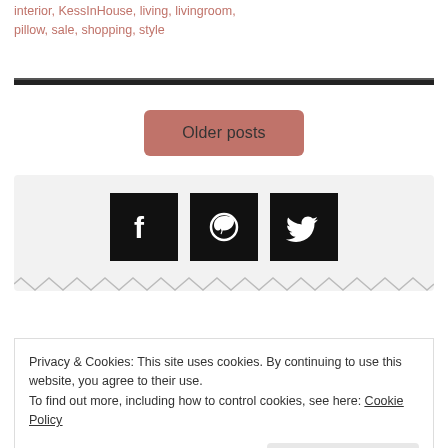interior, KessInHouse, living, livingroom, pillow, sale, shopping, style
[Figure (other): Social media icons: Facebook, Pinterest, Twitter on black square backgrounds, inside a light gray section]
Privacy & Cookies: This site uses cookies. By continuing to use this website, you agree to their use.
To find out more, including how to control cookies, see here: Cookie Policy
Close and accept